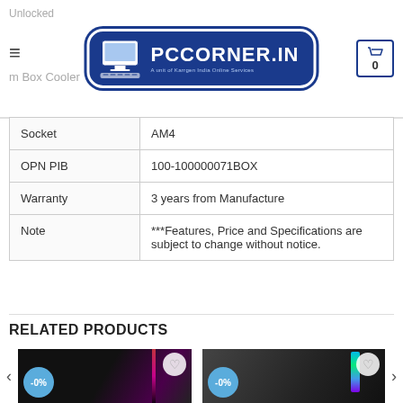PCCORNER.IN — A unit of Karrgen India Online Services
| Property | Value |
| --- | --- |
| Socket | AM4 |
| OPN PIB | 100-100000071BOX |
| Warranty | 3 years from Manufacture |
| Note | ***Features, Price and Specifications are subject to change without notice. |
RELATED PRODUCTS
[Figure (photo): PC case with pink/purple RGB lighting and dark chassis, -0% discount badge]
[Figure (photo): PC case with RGB rainbow strip lighting and dark chassis, -0% discount badge]